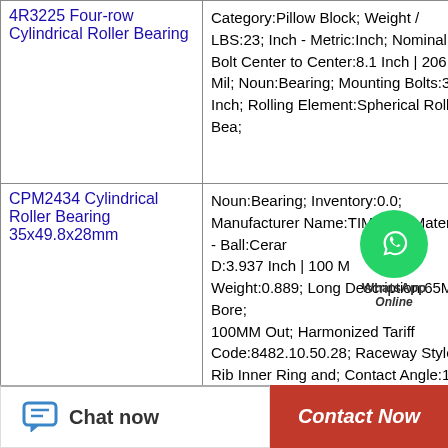| Product | Details |
| --- | --- |
| 4R3225 Four-row Cylindrical Roller Bearing | Category:Pillow Block; Weight / LBS:23; Inch - Metric:Inch; Nominal Bolt Center to Center:8.1 Inch | 206.4 Mil; Noun:Bearing; Mounting Bolts:3/4 Inch; Rolling Element:Spherical Roller Bea; |
| CPM2434 Cylindrical Roller Bearing 35x49.8x28mm | Noun:Bearing; Inventory:0.0; Manufacturer Name:TIMKEN; Material - Ball:Ceramic; D:3.937 Inch | 100 M; Weight:0.889; Long Description:65MM Bore; 100MM Out; Harmonized Tariff Code:8482.10.50.28; Raceway Style:1 Rib Inner Ring and; Contact Angle:15 Degree; |
|  | Cage Material:Steel; Minimum |
Chat now
Contact Now